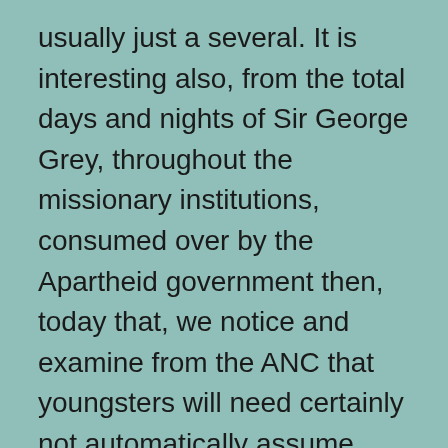usually just a several. It is interesting also, from the total days and nights of Sir George Grey, throughout the missionary institutions, consumed over by the Apartheid government then, today that, we notice and examine from the ANC that youngsters will need certainly not automatically assume school only, because there are not enough places or slots fro everyone. You may prefer to carry a start looking at the free-spin video slot deals that can be attainable on these casinos.
The selection of common pictures and does sound, with modern day and massive pay lines